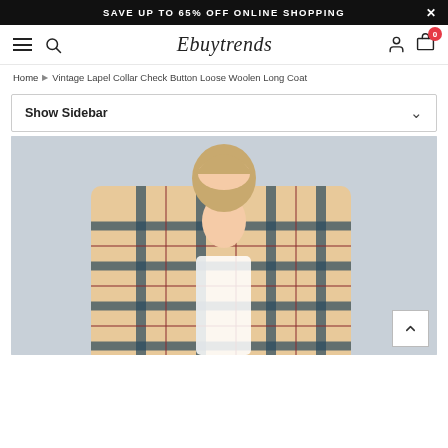SAVE UP TO 65% OFF ONLINE SHOPPING
[Figure (logo): Ebuytrends e-commerce website navigation bar with hamburger menu, search icon, brand name 'Ebuytrends', user icon, and cart icon showing 0 items]
Home ▶ Vintage Lapel Collar Check Button Loose Woolen Long Coat
Show Sidebar
[Figure (photo): Woman wearing a plaid/check woolen long coat in beige and dark blue/navy colors over a white top, against a light background]